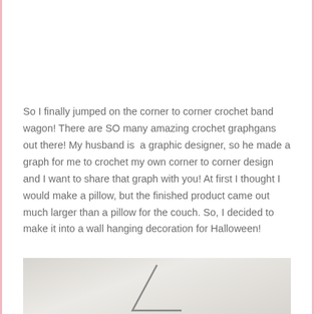So I finally jumped on the corner to corner crochet band wagon! There are SO many amazing crochet graphgans out there! My husband is  a graphic designer, so he made a graph for me to crochet my own corner to corner design and I want to share that graph with you! At first I thought I would make a pillow, but the finished product came out much larger than a pillow for the couch. So, I decided to make it into a wall hanging decoration for Halloween!
[Figure (photo): Partial photo showing a light gray background with a triangular/mountain shape visible at the bottom, appearing to be a crocheted Halloween wall hanging decoration.]